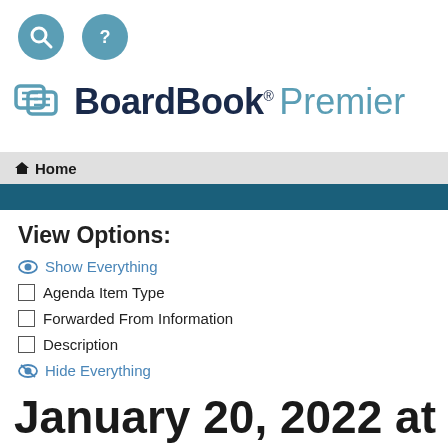[Figure (logo): BoardBook Premier logo with search and help icons]
Home
View Options:
Show Everything
Agenda Item Type
Forwarded From Information
Description
Hide Everything
January 20, 2022 at 5:00 PM - Regular